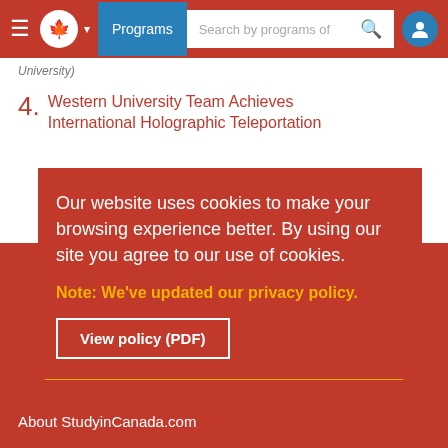Programs  Search by programs of
University)
4. Western University Team Achieves International Holographic Teleportation
Our website uses cookies to make your browsing experience better. By using our site you agree to our use of cookies.
Note: We've updated our privacy policy.
View policy (PDF)
Close and don't show again
About StudyinCanada.com